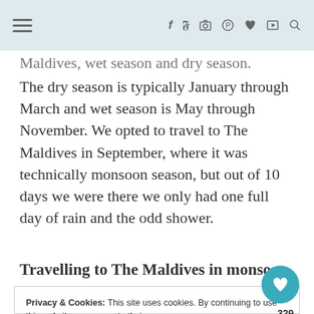≡  f  y  ☷  ⊕  ♥  ▶  🔍
Maldives, wet season and dry season. The dry season is typically January through March and wet season is May through November. We opted to travel to The Maldives in September, where it was technically monsoon season, but out of 10 days we were there we only had one full day of rain and the odd shower.
Travelling to The Maldives in monsoon
Privacy & Cookies: This site uses cookies. By continuing to use this website, you agree to their use.
To find out more, including how to control cookies, see here: Cookie Policy
329
Close and accept